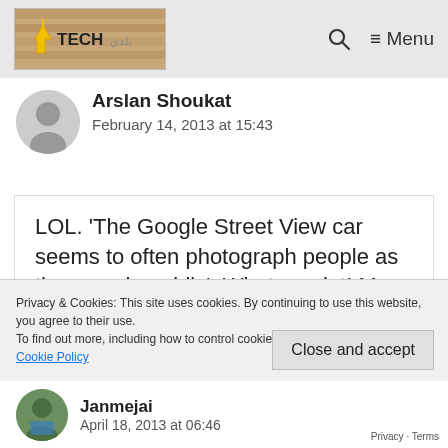Tech [logo] | Q Menu
Arslan Shoukat
February 14, 2013 at 15:43
LOL. 'The Google Street View car seems to often photograph people as they pee in public'. What a point! My votes goes to the angry man. 😀
Privacy & Cookies: This site uses cookies. By continuing to use this website, you agree to their use.
To find out more, including how to control cookies, see here: Cookie Policy
Close and accept
Janmejai
April 18, 2013 at 06:46